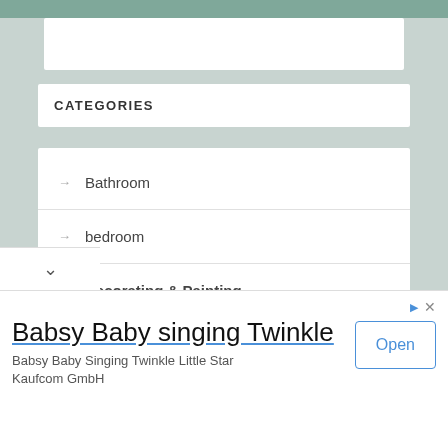CATEGORIES
Bathroom
bedroom
Decorating & Painting
Electrical & Electronics
Exterior
Babsy Baby singing Twinkle
Babsy Baby Singing Twinkle Little Star Kaufcom GmbH